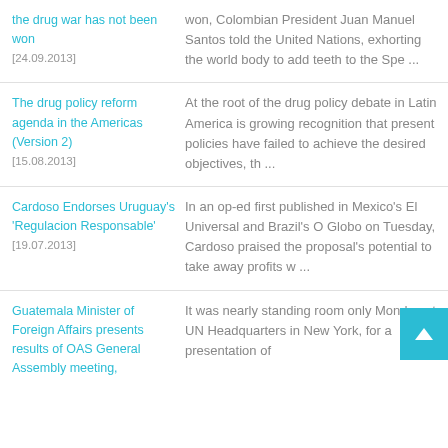the drug war has not been won [24.09.2013] | won, Colombian President Juan Manuel Santos told the United Nations, exhorting the world body to add teeth to the Spe ...
The drug policy reform agenda in the Americas (Version 2) [15.08.2013] | At the root of the drug policy debate in Latin America is growing recognition that present policies have failed to achieve the desired objectives, th ...
Cardoso Endorses Uruguay's 'Regulacion Responsable' [19.07.2013] | In an op-ed first published in Mexico's El Universal and Brazil's O Globo on Tuesday, Cardoso praised the proposal's potential to take away profits w ...
Guatemala Minister of Foreign Affairs presents results of OAS General Assembly meeting, | It was nearly standing room only Monday at UN Headquarters in New York, for a presentation of